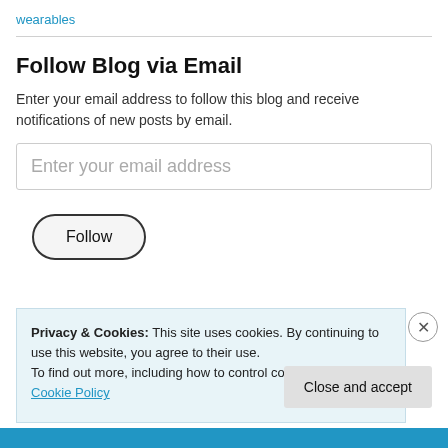wearables
Follow Blog via Email
Enter your email address to follow this blog and receive notifications of new posts by email.
Enter your email address
Follow
Privacy & Cookies: This site uses cookies. By continuing to use this website, you agree to their use.
To find out more, including how to control cookies, see here: Cookie Policy
Close and accept